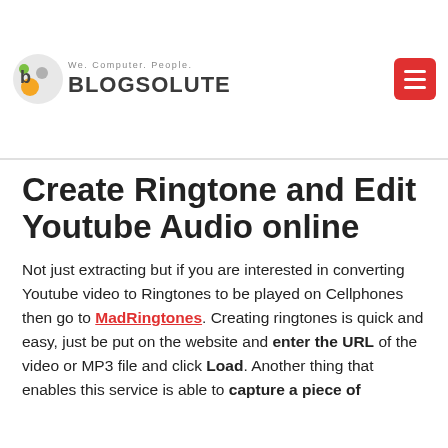Blogsolute — We. Computer. People.
Create Ringtone and Edit Youtube Audio online
Not just extracting but if you are interested in converting Youtube video to Ringtones to be played on Cellphones then go to MadRingtones. Creating ringtones is quick and easy, just be put on the website and enter the URL of the video or MP3 file and click Load. Another thing that enables this service is able to capture a piece of